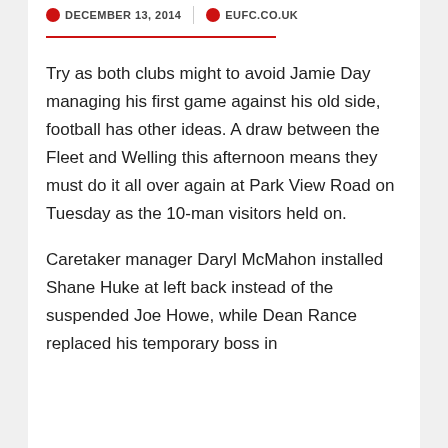DECEMBER 13, 2014 | EUFC.CO.UK
Try as both clubs might to avoid Jamie Day managing his first game against his old side, football has other ideas. A draw between the Fleet and Welling this afternoon means they must do it all over again at Park View Road on Tuesday as the 10-man visitors held on.
Caretaker manager Daryl McMahon installed Shane Huke at left back instead of the suspended Joe Howe, while Dean Rance replaced his temporary boss in